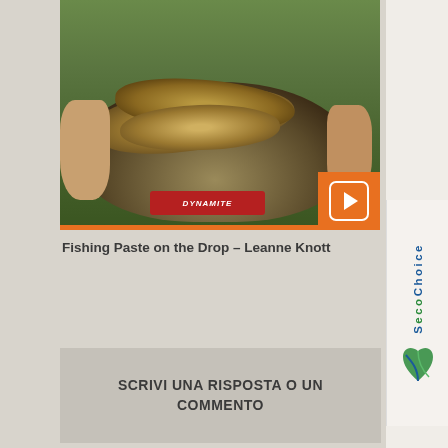[Figure (photo): Person holding a bag of large carp fish on grass, with DYNAMITE brand label visible on the bag and a play button overlay in the bottom right corner]
Fishing Paste on the Drop – Leanne Knott
SCRIVI UNA RISPOSTA O UN COMMENTO
[Figure (logo): EcoChoice logo with green leaf icon and company name in blue and green text, displayed vertically on right sidebar]